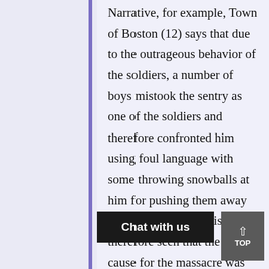Narrative, for example, Town of Boston (12) says that due to the outrageous behavior of the soldiers, a number of boys mistook the sentry as one of the soldiers and therefore confronted him using foul language with some throwing snowballs at him for pushing them away using his bayonet. It is therefore seen that the true cause for the massacre was due to defense by British soldiers in rescuing the sentry and not the soldiers acting against inhabitants of Boston